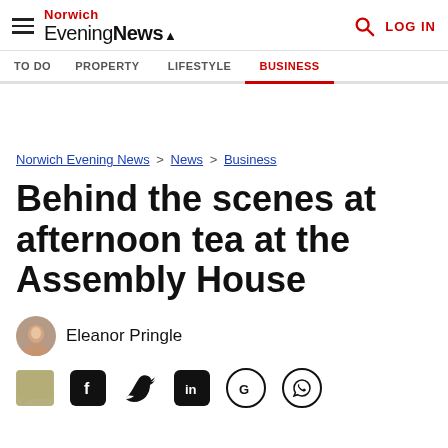Norwich Evening News — LOG IN
TO DO | PROPERTY | LIFESTYLE | BUSINESS
Norwich Evening News > News > Business
Behind the scenes at afternoon tea at the Assembly House
Eleanor Pringle